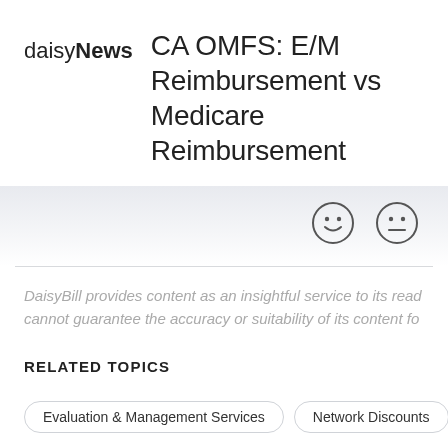daisy News
CA OMFS: E/M Reimbursement vs Medicare Reimbursement
[Figure (other): Feedback emoji icons (happy and neutral faces) on a gradient gray bar]
DaisyBill provides content as an insightful service to its readers and cannot guarantee the accuracy or suitability of its content fo
RELATED TOPICS
Evaluation & Management Services
Network Discounts
Discount Contracts